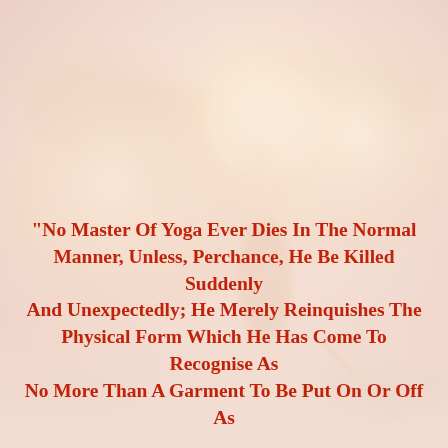[Figure (illustration): A faded, ethereal fantasy illustration of a winged angelic warrior figure with large feathered wings outstretched, glowing with golden-white light, holding a sword, set against a soft pinkish-cream misty sky background.]
“No Master Of Yoga Ever Dies In The Normal Manner, Unless, Perchance, He Be Killed Suddenly And Unexpectedly; He Merely Reinquishes The Physical Form Which He Has Come To Recognise As No More Than A Garment To Be Put On Or Off As